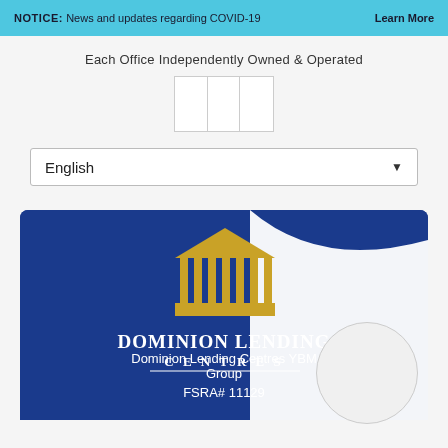NOTICE: News and updates regarding COVID-19   Learn More
Each Office Independently Owned & Operated
[Figure (logo): Logo placeholder with three-cell grid]
English ▼
[Figure (logo): Dominion Lending Centres logo on dark blue background with wave design. Text: Dominion Lending Centres YBM Group, FSRA# 11129]
[Figure (photo): Circular avatar/profile photo placeholder]